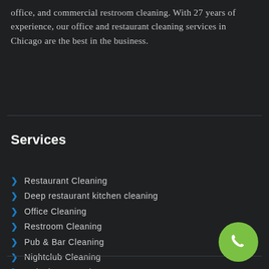office, and commercial restroom cleaning. With 27 years of experience, our office and restaurant cleaning services in Chicago are the best in the business.
Services
Restaurant Cleaning
Deep restaurant kitchen cleaning
Office Cleaning
Restroom Cleaning
Pub & Bar Cleaning
Nightclub Cleaning
Stripping & Waxing
[Figure (illustration): Green circular phone button with white phone handset icon in bottom right corner]